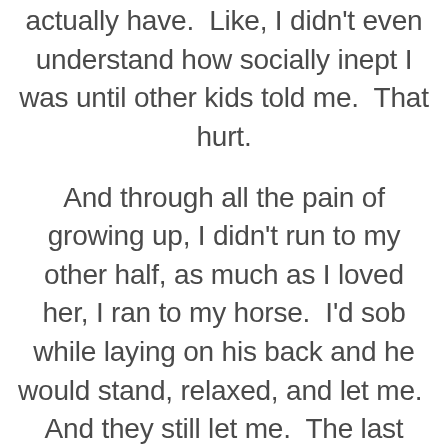actually have.  Like, I didn't even understand how socially inept I was until other kids told me.  That hurt.
And through all the pain of growing up, I didn't run to my other half, as much as I loved her, I ran to my horse.  I'd sob while laying on his back and he would stand, relaxed, and let me.  And they still let me.  The last time I sobbed on a horse's back was over a miscarriage.